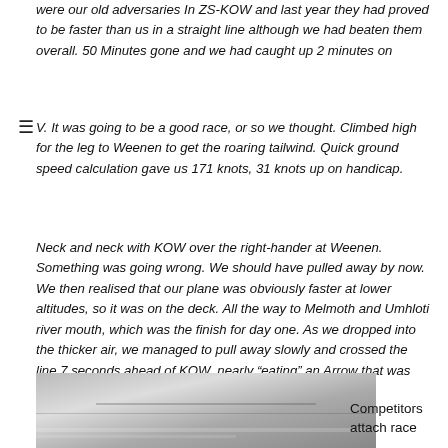were our old adversaries In ZS-KOW and last year they had proved to be faster than us in a straight line although we had beaten them overall. 50 Minutes gone and we had caught up 2 minutes on V. It was going to be a good race, or so we thought. Climbed high for the leg to Weenen to get the roaring tailwind. Quick ground speed calculation gave us 171 knots, 31 knots up on handicap.
Neck and neck with KOW over the right-hander at Weenen. Something was going wrong. We should have pulled away by now. We then realised that our plane was obviously faster at lower altitudes, so it was on the deck. All the way to Melmoth and Umhloti river mouth, which was the finish for day one. As we dropped into the thicker air, we managed to pull away slowly and crossed the line 7 seconds ahead of KOW, nearly “eating” an Arrow that was obviously out for a Sunday cruise.
[Figure (photo): Black and white photograph showing competitors and aircraft, partially visible at bottom of page.]
Competitors attach race